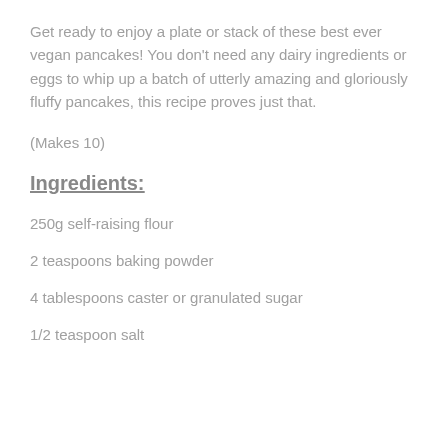Get ready to enjoy a plate or stack of these best ever vegan pancakes! You don't need any dairy ingredients or eggs to whip up a batch of utterly amazing and gloriously fluffy pancakes, this recipe proves just that.
(Makes 10)
Ingredients:
250g self-raising flour
2 teaspoons baking powder
4 tablespoons caster or granulated sugar
1/2 teaspoon salt